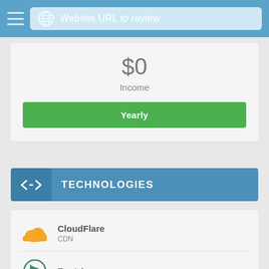Website URL to review
$0
Income
Yearly
TECHNOLOGIES
CloudFlare
CDN
Font Awesome